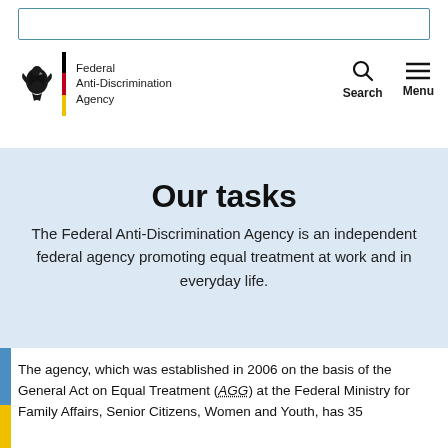Federal Anti-Discrimination Agency
Our tasks
The Federal Anti-Discrimination Agency is an independent federal agency promoting equal treatment at work and in everyday life.
The agency, which was established in 2006 on the basis of the General Act on Equal Treatment (AGG) at the Federal Ministry for Family Affairs, Senior Citizens, Women and Youth, has 35